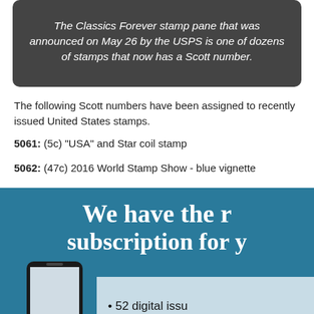The Classics Forever stamp pane that was announced on May 26 by the USPS is one of dozens of stamps that now has a Scott number.
The following Scott numbers have been assigned to recently issued United States stamps.
5061: (5c) "USA" and Star coil stamp
5062: (47c) 2016 World Stamp Show - blue vignette
5063: (47c) 2016 World Stamp Show – red vignette
[Figure (infographic): Advertisement banner with teal/blue background reading 'We have the r[ight] subscription for y[ou]' with phone graphic and bullet point '52 digital issu[es]']